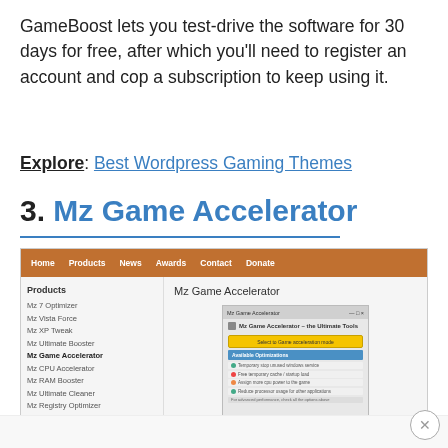GameBoost lets you test-drive the software for 30 days for free, after which you'll need to register an account and cop a subscription to keep using it.
Explore: Best Wordpress Gaming Themes
3. Mz Game Accelerator
[Figure (screenshot): Screenshot of the Mz Game Accelerator website showing a navigation bar with Home, Products, News, Awards, Contact, Donate links on an orange background, a left sidebar with product listings including Mz 7 Optimizer, Mz Vista Force, Mz XP Tweak, Mz Ultimate Booster, Mz Game Accelerator (highlighted), Mz CPU Accelerator, Mz RAM Booster, Mz Ultimate Cleaner, Mz Registry Optimizer, and a main area showing the Mz Game Accelerator application interface with a yellow scan button and optimization options list.]
[Figure (other): Close (X) button in bottom right corner]